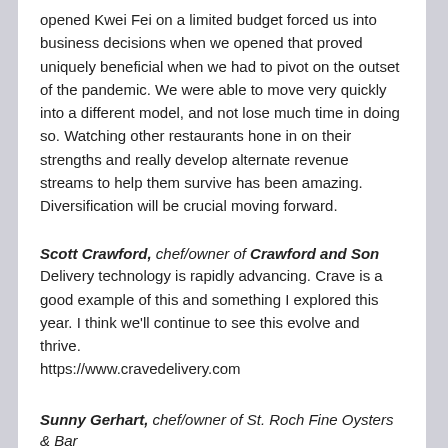opened Kwei Fei on a limited budget forced us into business decisions when we opened that proved uniquely beneficial when we had to pivot on the outset of the pandemic. We were able to move very quickly into a different model, and not lose much time in doing so. Watching other restaurants hone in on their strengths and really develop alternate revenue streams to help them survive has been amazing. Diversification will be crucial moving forward.
Scott Crawford, chef/owner of Crawford and Son
Delivery technology is rapidly advancing. Crave is a good example of this and something I explored this year. I think we'll continue to see this evolve and thrive. https://www.cravedelivery.com
Sunny Gerhart, chef/owner of St. Roch Fine Oysters & Bar
I am not sure about any innovative ideas or pivots that may have come out of 2020, but for me, 2020 has put